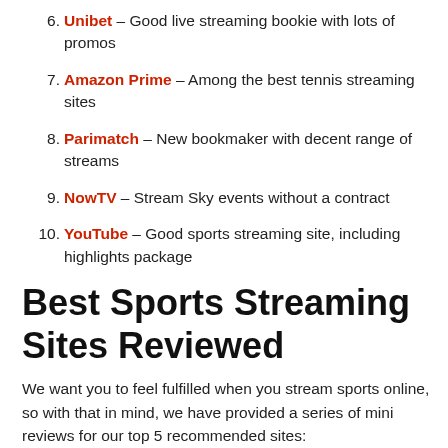6. Unibet – Good live streaming bookie with lots of promos
7. Amazon Prime – Among the best tennis streaming sites
8. Parimatch – New bookmaker with decent range of streams
9. NowTV – Stream Sky events without a contract
10. YouTube – Good sports streaming site, including highlights package
Best Sports Streaming Sites Reviewed
We want you to feel fulfilled when you stream sports online, so with that in mind, we have provided a series of mini reviews for our top 5 recommended sites: